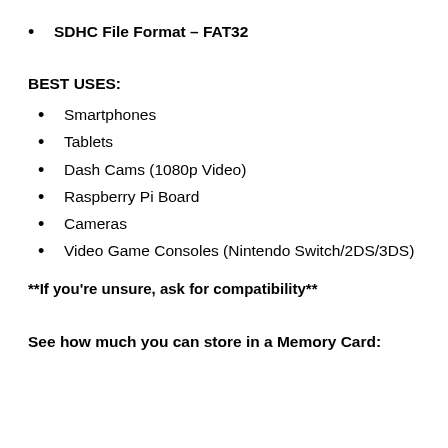SDHC File Format – FAT32
BEST USES:
Smartphones
Tablets
Dash Cams (1080p Video)
Raspberry Pi Board
Cameras
Video Game Consoles (Nintendo Switch/2DS/3DS)
**If you're unsure, ask for compatibility**
See how much you can store in a Memory Card: